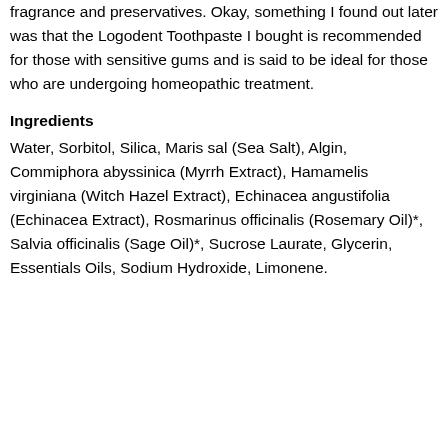fragrance and preservatives. Okay, something I found out later was that the Logodent Toothpaste I bought is recommended for those with sensitive gums and is said to be ideal for those who are undergoing homeopathic treatment.
Ingredients
Water, Sorbitol, Silica, Maris sal (Sea Salt), Algin, Commiphora abyssinica (Myrrh Extract), Hamamelis virginiana (Witch Hazel Extract), Echinacea angustifolia (Echinacea Extract), Rosmarinus officinalis (Rosemary Oil)*, Salvia officinalis (Sage Oil)*, Sucrose Laurate, Glycerin, Essentials Oils, Sodium Hydroxide, Limonene.